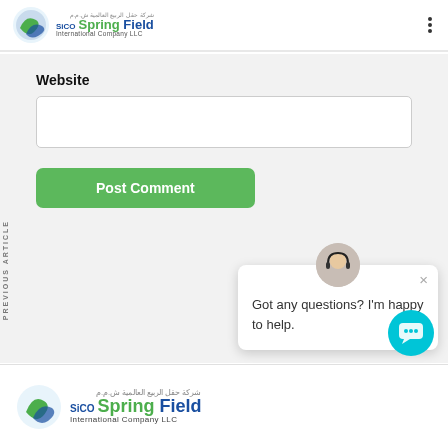Spring Field International Company LLC
Website
[Figure (screenshot): Empty website input text field]
[Figure (screenshot): Post Comment green button]
PREVIOUS ARTICLE
[Figure (screenshot): Chat popup with agent avatar and text: Got any questions? I'm happy to help.]
Spring Field International Company LLC - SICO